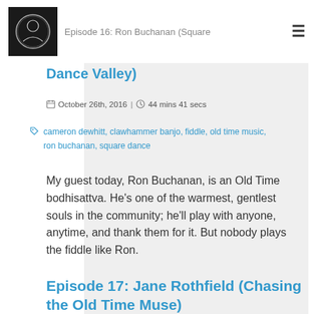Episode 16: Ron Buchanan (Square Dance)
October 26th, 2016 | 44 mins 41 secs
cameron dewhitt, clawhammer banjo, fiddle, old time music, ron buchanan, square dance
My guest today, Ron Buchanan, is an Old Time bodhisattva. He’s one of the warmest, gentlest souls in the community; he’ll play with anyone, anytime, and thank them for it. But nobody plays the fiddle like Ron.
Episode 17: Jane Rothfield (Chasing the Old Time Muse)
October 26th, 2016 | 48 mins 59 secs
cameron dewhitt, clawhammer banjo, fiddle, get up in the